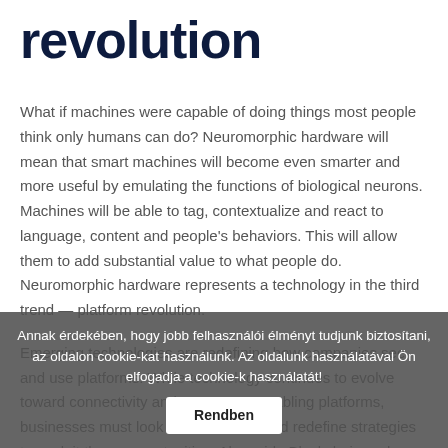revolution
What if machines were capable of doing things most people think only humans can do? Neuromorphic hardware will mean that smart machines will become even smarter and more useful by emulating the functions of biological neurons. Machines will be able to tag, contextualize and react to language, content and people's behaviors. This will allow them to add substantial value to what people do. Neuromorphic hardware represents a technology in the third trend — platform revolution.
Emerging technologies are redefining how companies see and use platforms. While technology continues to evolve toward connectivity and ecosystem-enabling platforms, businesses must look to understand and redefine strategies to exploit these opportunities. Alongside Blockchain and neuromorphic hardware, the platform revolution includes technologies such as general purpose machine intelligence.
Annak érdekében, hogy jobb felhasználói élményt tudjunk biztosítani, az oldalon cookie-kat használunk. Az oldalunk használatával Ön elfogadja a cookie-k használatát! Rendben